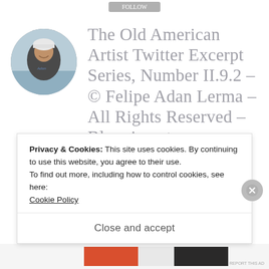[Figure (photo): Circular profile photo of a person wearing a bicycle helmet, outdoors near water]
The Old American Artist Twitter Excerpt Series, Number II.9.2 – © Felipe Adan Lerma – All Rights Reserved – Blogging at
Privacy & Cookies: This site uses cookies. By continuing to use this website, you agree to their use.
To find out more, including how to control cookies, see here:
Cookie Policy
Close and accept